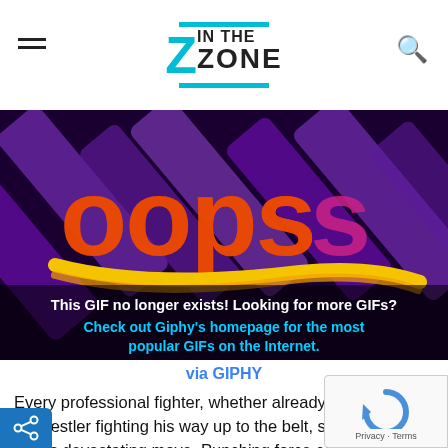IN THE ZONE
[Figure (other): Giphy error image showing 'OOPS' in orange graffiti text on a dark purple background with diagonal shapes. Below the graphic: 'This GIF no longer exists! Looking for more GIFs? Check out Giphy's homepage for the most popular GIFs on the Internet.']
via GIPHY
Every professional fighter, whether already a champion or wrestler fighting his way up to the belt, should be wary of this devastating move. Punching force compared to that of a kick is almost harmless. In professional wrestling or UFC, every move is calculated to maximize results. Nakamura is known for his patience and skill to find that hole in opponent's guard. His signature move? It's the flying knee of course. The idea is to go for it when a fighter is stunned or caught off guard. Once there's an opportunity